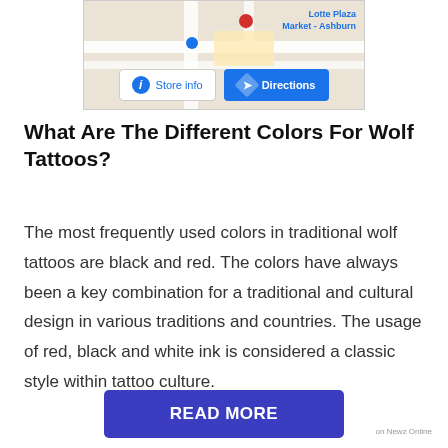[Figure (screenshot): Google Maps screenshot showing Lotte Plaza Market - Ashburn location with Store info and Directions buttons]
What Are The Different Colors For Wolf Tattoos?
The most frequently used colors in traditional wolf tattoos are black and red. The colors have always been a key combination for a traditional and cultural design in various traditions and countries. The usage of red, black and white ink is considered a classic style within tattoo culture.
READ MORE